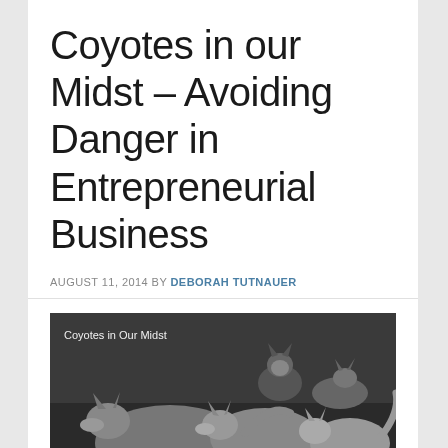Coyotes in our Midst – Avoiding Danger in Entrepreneurial Business
AUGUST 11, 2014 BY DEBORAH TUTNAUER
[Figure (photo): Black and white photograph of a group of coyotes huddled together, with text 'Coyotes in Our Midst' overlaid in white in the upper left corner.]